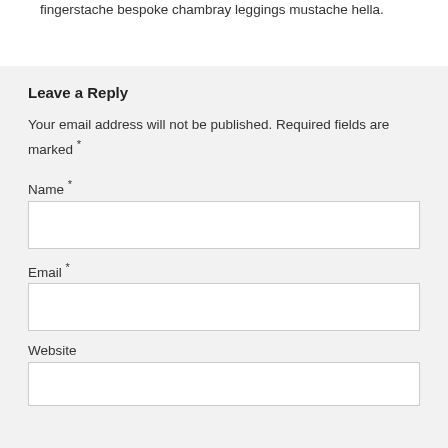fingerstache bespoke chambray leggings mustache hella.
Leave a Reply
Your email address will not be published. Required fields are marked *
Name *
Email *
Website